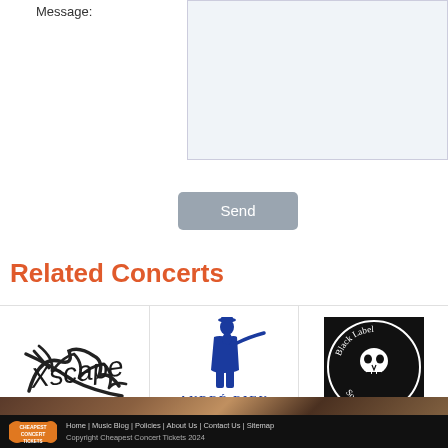Message:
Send
Related Concerts
[Figure (logo): Xscape handwritten script logo in black on white background]
Xscape
[Figure (logo): Andre Rieu logo with blue illustration of man playing violin and 'ANDRE RIEU' text below]
Andre Rieu
[Figure (logo): Black Label Society circular logo in black with skull and gothic lettering]
Black Label Society
Home | Music Blog | Policies | About Us | Contact Us | Sitemap Copyright Cheapest Concert Tickets 2024
[Figure (logo): Cheapest Concert Tickets logo with orange ticket graphic and white text]